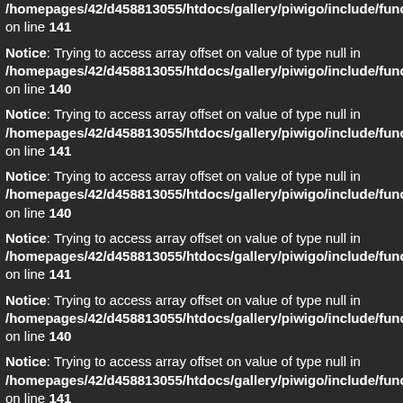on line 141
/homepages/42/d458813055/htdocs/gallery/piwigo/include/function
on line 141
Notice: Trying to access array offset on value of type null in /homepages/42/d458813055/htdocs/gallery/piwigo/include/function on line 140
Notice: Trying to access array offset on value of type null in /homepages/42/d458813055/htdocs/gallery/piwigo/include/function on line 141
Notice: Trying to access array offset on value of type null in /homepages/42/d458813055/htdocs/gallery/piwigo/include/function on line 140
Notice: Trying to access array offset on value of type null in /homepages/42/d458813055/htdocs/gallery/piwigo/include/function on line 141
Notice: Trying to access array offset on value of type null in /homepages/42/d458813055/htdocs/gallery/piwigo/include/function on line 140
Notice: Trying to access array offset on value of type null in /homepages/42/d458813055/htdocs/gallery/piwigo/include/function on line 141